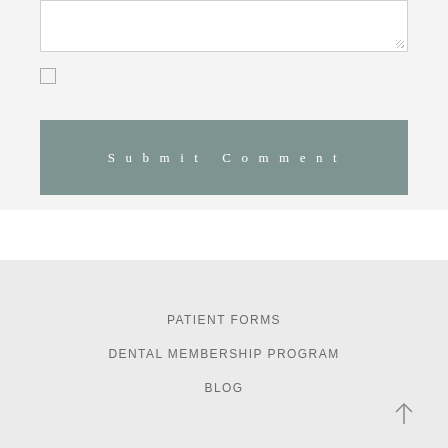[Figure (screenshot): A textarea input box with resize handle at bottom-right]
[Figure (screenshot): An unchecked checkbox input element]
Submit Comment
PATIENT FORMS
DENTAL MEMBERSHIP PROGRAM
BLOG